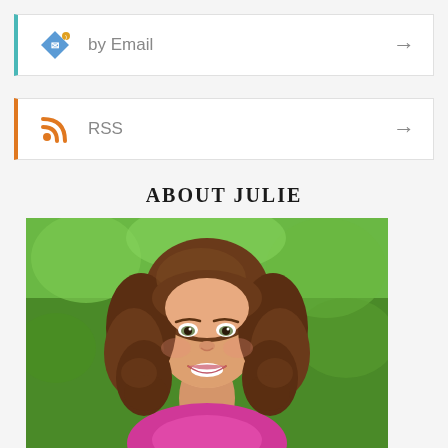by Email →
RSS →
ABOUT JULIE
[Figure (photo): Portrait photo of Julie, a woman with long curly brown hair, smiling, wearing a bright pink/magenta top, photographed outdoors against a green background]